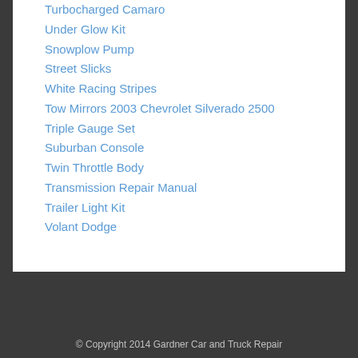Turbocharged Camaro
Under Glow Kit
Snowplow Pump
Street Slicks
White Racing Stripes
Tow Mirrors 2003 Chevrolet Silverado 2500
Triple Gauge Set
Suburban Console
Twin Throttle Body
Transmission Repair Manual
Trailer Light Kit
Volant Dodge
© Copyright 2014 Gardner Car and Truck Repair